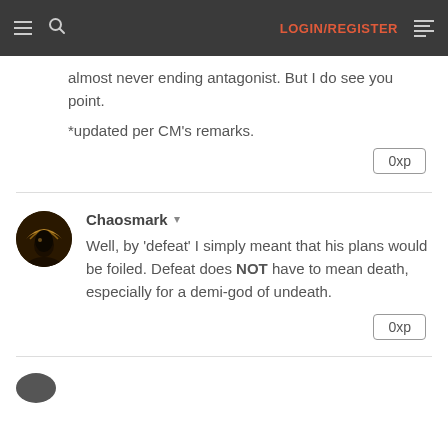LOGIN/REGISTER
almost never ending antagonist. But I do see you point.

*updated per CM's remarks.
0xp
Chaosmark
Well, by 'defeat' I simply meant that his plans would be foiled. Defeat does NOT have to mean death, especially for a demi-god of undeath.
0xp